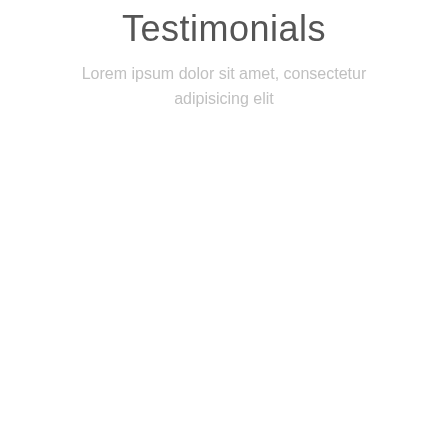Testimonials
Lorem ipsum dolor sit amet, consectetur adipisicing elit